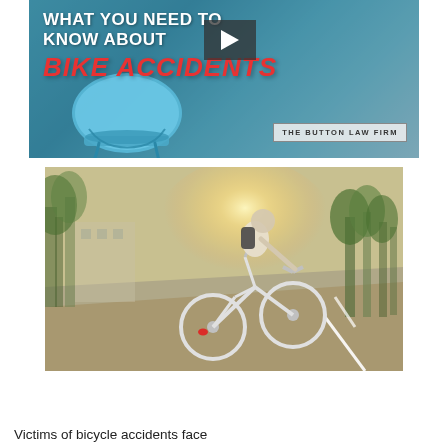[Figure (infographic): Video thumbnail banner for 'What You Need to Know About Bike Accidents' by The Button Law Firm. Blue background with a bike helmet, white bold text at top, red italic text reading 'BIKE ACCIDENTS', and a video play button.]
[Figure (photo): Photo of a person riding a white bicycle on an urban road from behind, with a bright sun glare, trees lining the street, and a bike lane visible on the road.]
Victims of bicycle accidents face